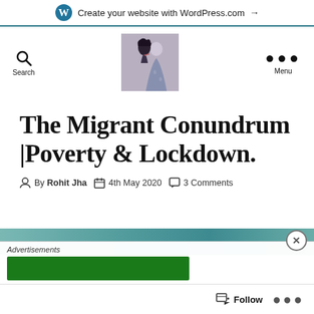Create your website with WordPress.com →
[Figure (photo): WordPress logo and navigation header with profile photo showing two women, search icon and menu dots]
The Migrant Conundrum |Poverty & Lockdown.
By Rohit Jha   4th May 2020   3 Comments
[Figure (photo): Bottom portion of a photo with teal/green tones, partly covered by an advertisements banner with a green ad and a close button]
Follow  ...